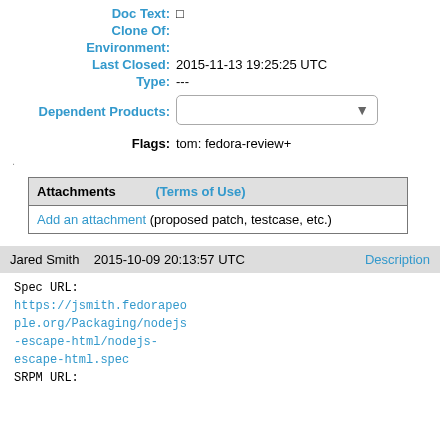Doc Type: Bug Fix
Doc Text: □
Clone Of:
Environment:
Last Closed: 2015-11-13 19:25:25 UTC
Type: ---
Dependent Products: [dropdown]
Flags: tom: fedora-review+
| Attachments | (Terms of Use) |
| --- | --- |
| Add an attachment (proposed patch, testcase, etc.) |  |
Jared Smith   2015-10-09 20:13:57 UTC   Description
Spec URL:
https://jsmith.fedorapeople.org/Packaging/nodejs-escape-html/nodejs-escape-html.spec
SRPM URL: